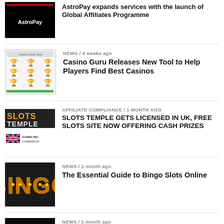[Figure (photo): AstroPay logo on black background]
AstroPay expands services with the launch of Global Affiliates Programme
[Figure (screenshot): Casino Guru tool screenshot showing trophy icons grid]
NEWS / 4 weeks ago
Casino Guru Releases New Tool to Help Players Find Best Casinos
[Figure (logo): Slots Temple logo and UK Gambling Commission logo]
AFFILIATE COMPLIANCE / 1 month ago
SLOTS TEMPLE GETS LICENSED IN UK, FREE SLOTS SITE NOW OFFERING CASH PRIZES
[Figure (photo): BINGO sign with illuminated letters on dark background]
NEWS / 1 month ago
The Essential Guide to Bingo Slots Online
[Figure (photo): Red illuminated arena/stadium at night with light trails]
NEWS / 1 month ago
Staying On Top in a Fast Changing Industry
[Figure (photo): Dark thumbnail - partially visible]
NEWS / 1 month ago